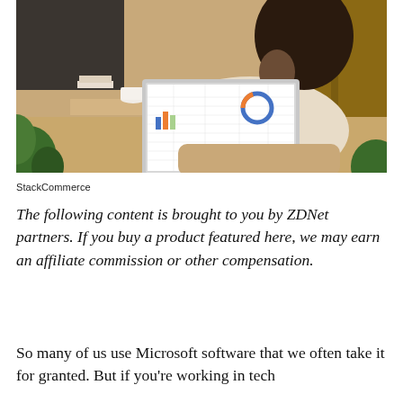[Figure (photo): A person wearing a cream/beige knit sweater sitting in a chair, holding a coffee cup, working on a laptop that shows a spreadsheet or data dashboard. The scene is in a home/living room setting with plants in the foreground and wooden furniture in the background.]
StackCommerce
The following content is brought to you by ZDNet partners. If you buy a product featured here, we may earn an affiliate commission or other compensation.
So many of us use Microsoft software that we often take it for granted. But if you're working in tech